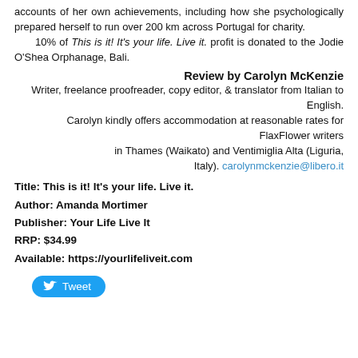accounts of her own achievements, including how she psychologically prepared herself to run over 200 km across Portugal for charity.
    10% of This is it! It's your life. Live it. profit is donated to the Jodie O'Shea Orphanage, Bali.
Review by Carolyn McKenzie
Writer, freelance proofreader, copy editor, & translator from Italian to English.
Carolyn kindly offers accommodation at reasonable rates for FlaxFlower writers in Thames (Waikato) and Ventimiglia Alta (Liguria, Italy). carolynmckenzie@libero.it
Title: This is it! It's your life. Live it.
Author: Amanda Mortimer
Publisher: Your Life Live It
RRP: $34.99
Available: https://yourlifeliveit.com
[Figure (other): Twitter Tweet button (blue rounded rectangle with bird icon and 'Tweet' text)]